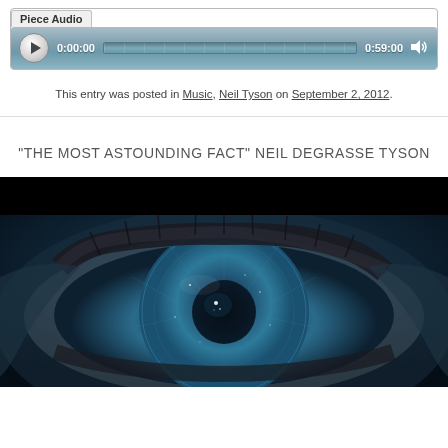[Figure (screenshot): Audio player widget with 'Piece Audio' tab label, play button, time display 0:00:00, progress bar, end time 0:59:00, and volume icon]
This entry was posted in Music, Neil Tyson on September 2, 2012.
"THE MOST ASTOUNDING FACT" NEIL DEGRASSE TYSON
[Figure (screenshot): Close-up video thumbnail of a human eye with blue/teal tones and cosmic imagery reflected in the iris, dark background at top]